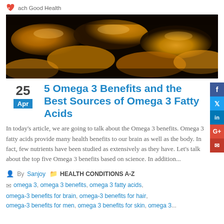Teach Good Health
[Figure (photo): Close-up photo of golden/amber omega-3 fish oil gel capsules with warm lighting]
5 Omega 3 Benefits and the Best Sources of Omega 3 Fatty Acids
In today's article, we are going to talk about the Omega 3 benefits. Omega 3 fatty acids provide many health benefits to our brain as well as the body. In fact, few nutrients have been studied as extensively as they have. Let's talk about the top five Omega 3 benefits based on science. In addition...
By Sanjoy  HEALTH CONDITIONS A-Z
omega 3, omega 3 benefits, omega 3 fatty acids, omega-3 benefits for brain, omega-3 benefits for hair, omega-3 benefits for men, omega 3 benefits for skin, omega 3...